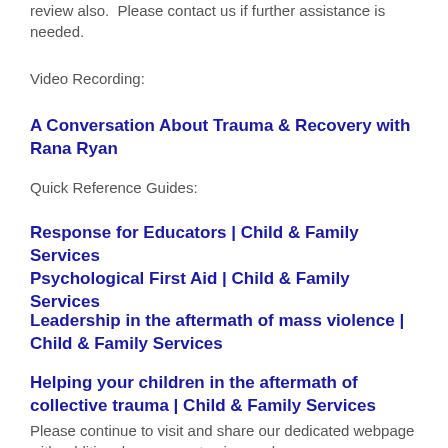review also.  Please contact us if further assistance is needed.
Video Recording:
A Conversation About Trauma & Recovery with Rana Ryan
Quick Reference Guides:
Response for Educators | Child & Family Services
Psychological First Aid | Child & Family Services
Leadership in the aftermath of mass violence | Child & Family Services
Helping your children in the aftermath of collective trauma | Child & Family Services
Please continue to visit and share our dedicated webpage with additional resources to view and